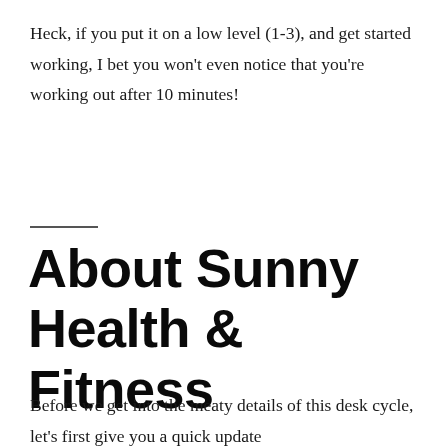Heck, if you put it on a low level (1-3), and get started working, I bet you won't even notice that you're working out after 10 minutes!
About Sunny Health & Fitness
Before we get into the meaty details of this desk cycle, let's first give you a quick update